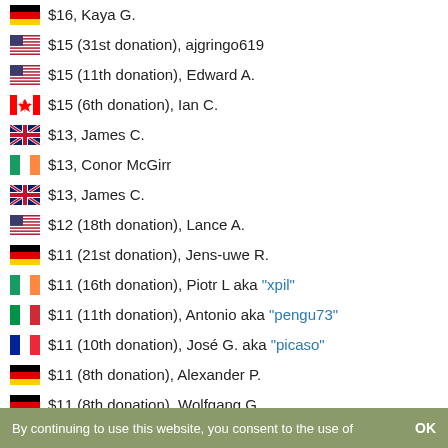$16, Kaya G.
$15 (31st donation), ajgringo619
$15 (11th donation), Edward A.
$15 (6th donation), Ian C.
$13, James C.
$13, Conor McGirr
$13, James C.
$12 (18th donation), Lance A.
$11 (21st donation), Jens-uwe R.
$11 (16th donation), Piotr L aka "xpil"
$11 (11th donation), Antonio aka "pengu73"
$11 (10th donation), José G. aka "picaso"
$11 (8th donation), Alexander P.
$11 (8th donation), Wolfgang G.
$11 (7th donation), Vjeran B.
$11 (6th donation), Frank H.
$11 (4th donation), Henric N.
By continuing to use this website, you consent to the use of   OK